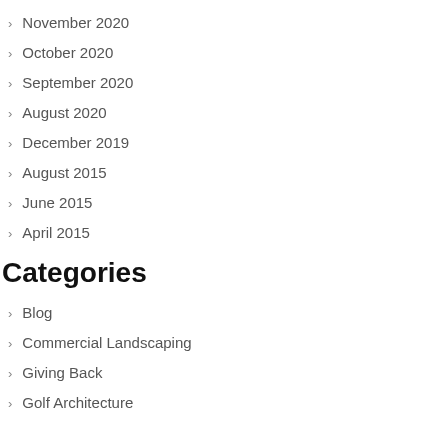November 2020
October 2020
September 2020
August 2020
December 2019
August 2015
June 2015
April 2015
Categories
Blog
Commercial Landscaping
Giving Back
Golf Architecture